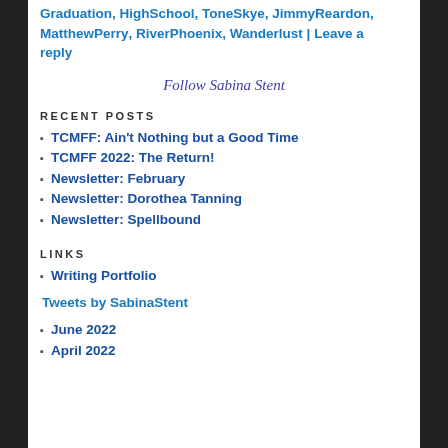Graduation, HighSchool, ToneSkye, JimmyReardon, MatthewPerry, RiverPhoenix, Wanderlust | Leave a reply
Follow Sabina Stent
RECENT POSTS
TCMFF: Ain't Nothing but a Good Time
TCMFF 2022: The Return!
Newsletter: February
Newsletter: Dorothea Tanning
Newsletter: Spellbound
LINKS
Writing Portfolio
Tweets by SabinaStent
June 2022
April 2022